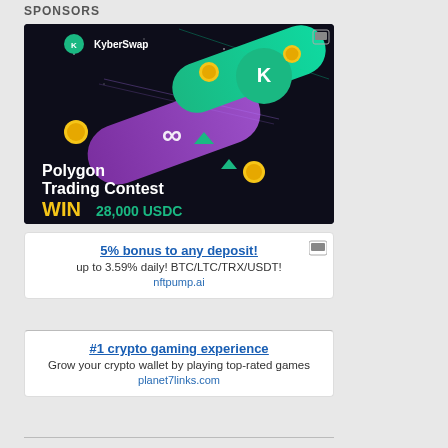SPONSORS
[Figure (illustration): KyberSwap Polygon Trading Contest advertisement banner. Dark background with purple and green diagonal streaks, gold coins, KyberSwap logo. Text: 'Polygon Trading Contest WIN 28,000 USDC Prize Pool!']
5% bonus to any deposit!
up to 3.59% daily! BTC/LTC/TRX/USDT!
nftpump.ai
#1 crypto gaming experience
Grow your crypto wallet by playing top-rated games
planet7links.com